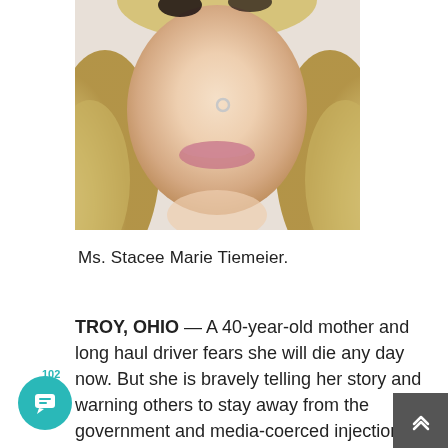[Figure (photo): Close-up photo of a woman with curly blonde hair and a nose ring, cropped to show the lower face and neck]
Ms. Stacee Marie Tiemeier.
TROY, OHIO — A 40-year-old mother and long haul driver fears she will die any day now. But she is bravely telling her story and warning others to stay away from the government and media-coerced injections.